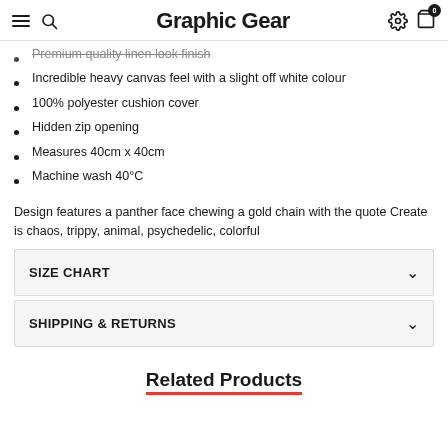Graphic Gear
Premium quality linen look finish
Incredible heavy canvas feel with a slight off white colour
100% polyester cushion cover
Hidden zip opening
Measures 40cm x 40cm
Machine wash 40°C
Design features a panther face chewing a gold chain with the quote Create is chaos, trippy, animal, psychedelic, colorful
SIZE CHART
SHIPPING & RETURNS
Related Products